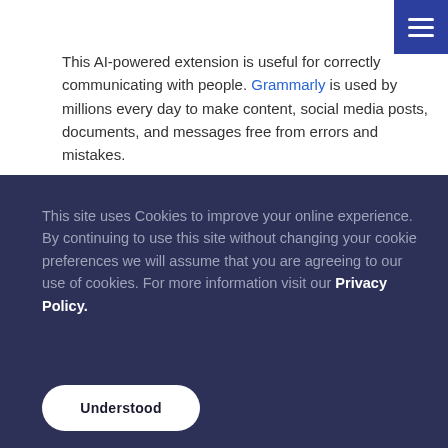This AI-powered extension is useful for correctly communicating with people. Grammarly is used by millions every day to make content, social media posts, documents, and messages free from errors and mistakes.
This site uses Cookies to improve your online experience. By continuing to use this site without changing your cookie preferences we will assume that you are agreeing to our use of cookies. For more information visit our Privacy Policy.
Understood